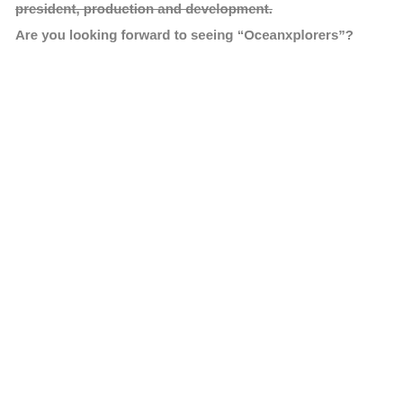president, production and development.
Are you looking forward to seeing “Oceanxplorers”?